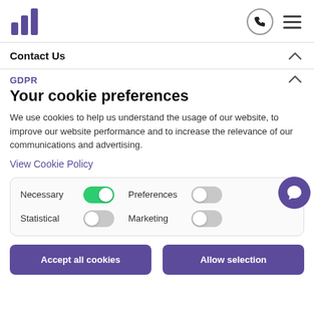[Figure (logo): Purple bar chart logo icon with three ascending bars]
Contact Us
GDPR
Your cookie preferences
We use cookies to help us understand the usage of our website, to improve our website performance and to increase the relevance of our communications and advertising.
View Cookie Policy
Necessary | Preferences | Statistical | Marketing toggles
Accept all cookies
Allow selection